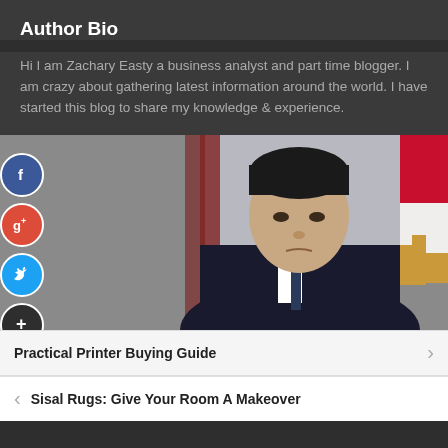Author Bio
Hi I am Zachary Easty a business analyst and part time blogger. I am crazy about gathering latest information around the world. I have started this blog to share my knowledge & experience.
[Figure (photo): Photo of a man in a dark suit with a tie, seated, with a flag in the background. Social media sharing buttons (Facebook, Google+, Twitter, and a plus button) are overlaid on the left side.]
Practical Printer Buying Guide
Sisal Rugs: Give Your Room A Makeover